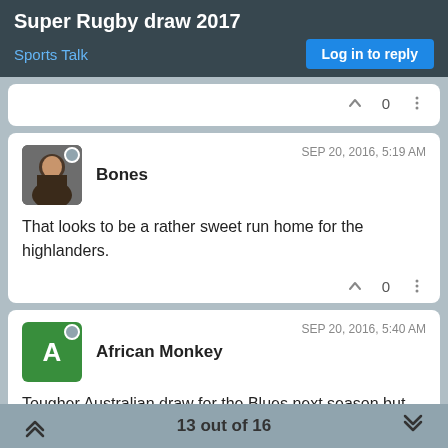Super Rugby draw 2017
Sports Talk
Log in to reply
0
Bones  SEP 20, 2016, 5:19 AM
That looks to be a rather sweet run home for the highlanders.
0
African Monkey  SEP 20, 2016, 5:40 AM
Tougher Australian draw for the Blues next season but happy with the how the South African leg has turned out for us by not having to go to altitude.
2
13 out of 16